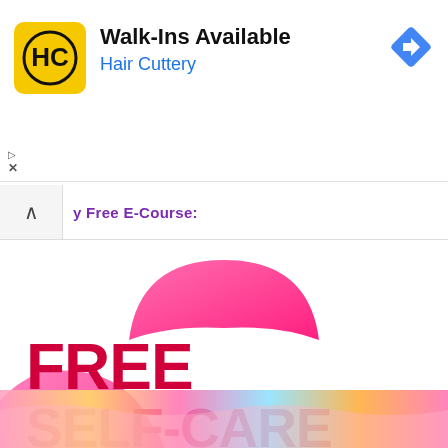[Figure (screenshot): Hair Cuttery ad banner with yellow HC logo, text 'Walk-Ins Available' and 'Hair Cuttery' in blue, and a blue navigation diamond icon on the right]
y Free E-Course:
[Figure (illustration): Pink blob shape at the top center of the page]
FREE SELF-CARE E-COURSE
[Figure (illustration): Large pink blob shape on the left side overlapping the text]
...Uncustomary ™
[Figure (photo): Partial photo at the bottom showing colorful fabric or yarn]